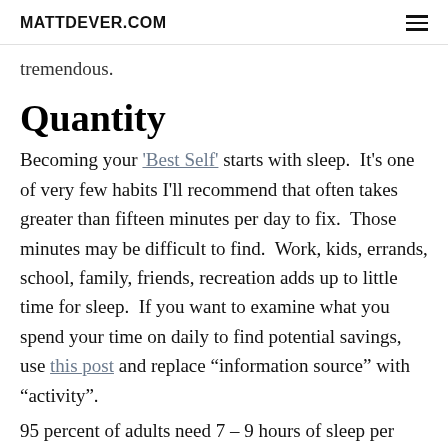MATTDEVER.COM
tremendous.
Quantity
Becoming your 'Best Self' starts with sleep.  It's one of very few habits I'll recommend that often takes greater than fifteen minutes per day to fix.  Those minutes may be difficult to find.  Work, kids, errands, school, family, friends, recreation adds up to little time for sleep.  If you want to examine what you spend your time on daily to find potential savings, use this post and replace “information source” with “activity”.
95 percent of adults need 7 – 9 hours of sleep per